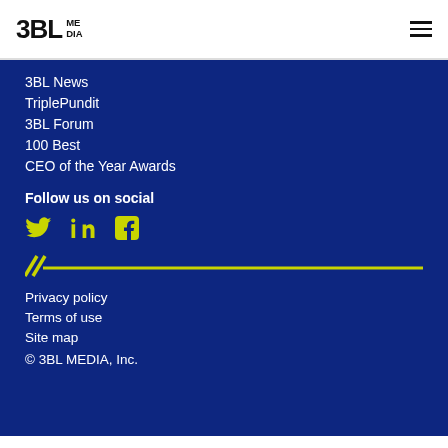3BL MEDIA
3BL News
TriplePundit
3BL Forum
100 Best
CEO of the Year Awards
Follow us on social
[Figure (infographic): Social media icons: Twitter bird, LinkedIn 'in', Facebook 'f' in yellow/lime color]
[Figure (infographic): Yellow double-slash divider line]
Privacy policy
Terms of use
Site map
© 3BL MEDIA, Inc.